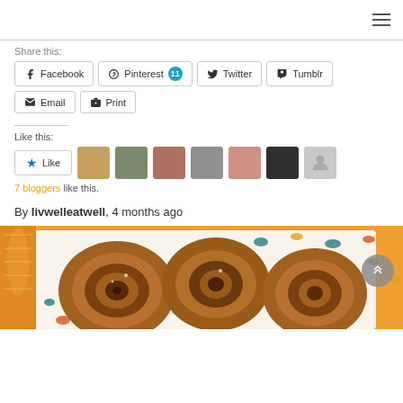Share this:
Facebook
Pinterest 11
Twitter
Tumblr
Email
Print
Like this:
7 bloggers like this.
By livwelleatwell, 4 months ago
[Figure (photo): Close-up photo of cinnamon rolls on a decorative plate with orange and teal dot pattern, on an orange background]